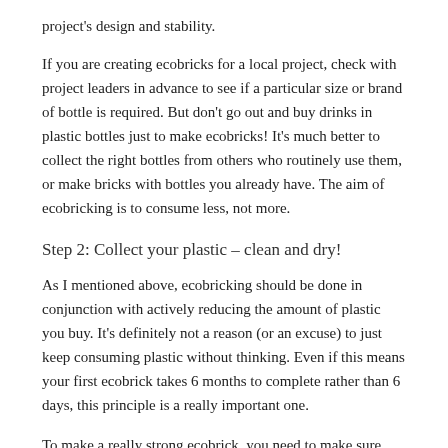project's design and stability.
If you are creating ecobricks for a local project, check with project leaders in advance to see if a particular size or brand of bottle is required. But don't go out and buy drinks in plastic bottles just to make ecobricks! It's much better to collect the right bottles from others who routinely use them, or make bricks with bottles you already have. The aim of ecobricking is to consume less, not more.
Step 2: Collect your plastic – clean and dry!
As I mentioned above, ecobricking should be done in conjunction with actively reducing the amount of plastic you buy. It's definitely not a reason (or an excuse) to just keep consuming plastic without thinking. Even if this means your first ecobrick takes 6 months to complete rather than 6 days, this principle is a really important one.
To make a really strong ecobrick, you need to make sure you're using a mixture of soft and harder plastics. You also need to cut them into small pieces to enable them to fit into smaller gaps and be